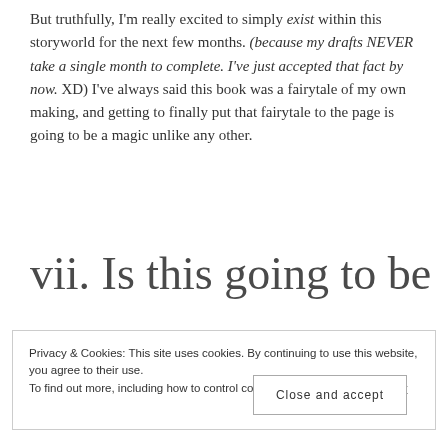But truthfully, I'm really excited to simply exist within this storyworld for the next few months. (because my drafts NEVER take a single month to complete. I've just accepted that fact by now. XD) I've always said this book was a fairytale of my own making, and getting to finally put that fairytale to the page is going to be a magic unlike any other.
vii. Is this going to be
Privacy & Cookies: This site uses cookies. By continuing to use this website, you agree to their use.
To find out more, including how to control cookies, see here: Cookie Policy
Close and accept